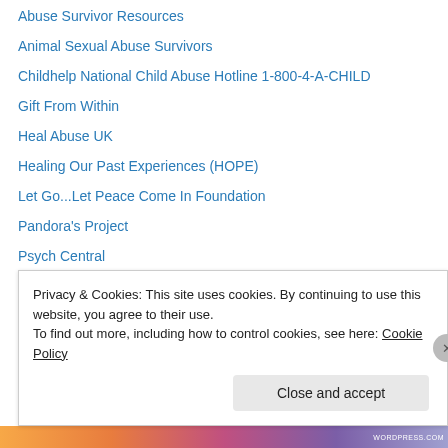Abuse Survivor Resources
Animal Sexual Abuse Survivors
Childhelp National Child Abuse Hotline 1-800-4-A-CHILD
Gift From Within
Heal Abuse UK
Healing Our Past Experiences (HOPE)
Let Go...Let Peace Come In Foundation
Pandora's Project
Psych Central
Privacy & Cookies: This site uses cookies. By continuing to use this website, you agree to their use.
To find out more, including how to control cookies, see here: Cookie Policy